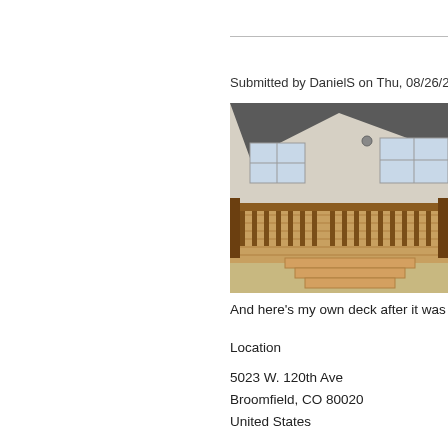My Deck
Submitted by DanielS on Thu, 08/26/2010 - 03
[Figure (photo): Photograph of a wooden deck with railing attached to a white siding house, with steps leading down to a yard.]
And here's my own deck after it was made
Location
5023 W. 120th Ave
Broomfield, CO 80020
United States